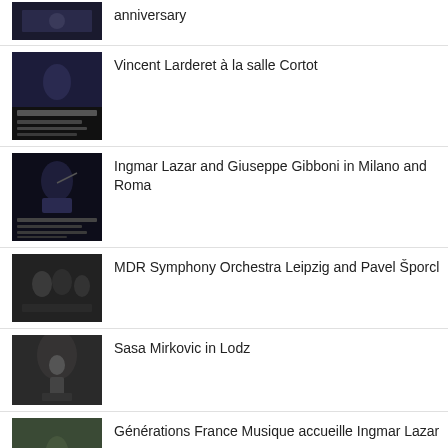anniversary
Vincent Larderet à la salle Cortot
Ingmar Lazar and Giuseppe Gibboni in Milano and Roma
MDR Symphony Orchestra Leipzig and Pavel Šporcl
Sasa Mirkovic in Lodz
Générations France Musique accueille Ingmar Lazar
Benjamin Herzl & Ingmar Lazar au festival Le Bruit qui Pense
Ingmar Lazar Mastery, Simplicity and Beauty...